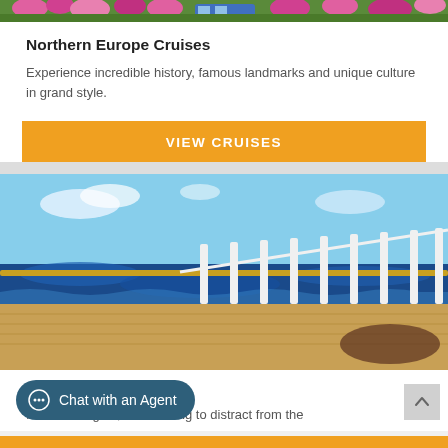[Figure (photo): Top strip of a photo showing flowers and plants, partially cropped at the top of the page]
Northern Europe Cruises
Experience incredible history, famous landmarks and unique culture in grand style.
[Figure (other): Orange button labeled VIEW CRUISES]
[Figure (photo): Cruise ship deck with white railing and deep blue ocean in background under a blue sky]
Transatlantic Cruises
...moonlit nights, and nothing to distract from the
[Figure (other): Chat with an Agent button overlay at bottom left]
[Figure (other): Partial orange button at bottom of page]